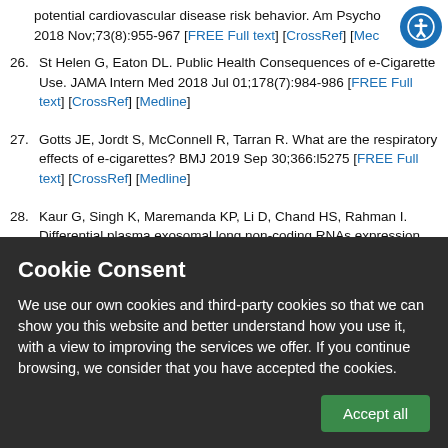potential cardiovascular disease risk behavior. Am Psycho 2018 Nov;73(8):955-967 [FREE Full text] [CrossRef] [Mec
26. St Helen G, Eaton DL. Public Health Consequences of e-Cigarette Use. JAMA Intern Med 2018 Jul 01;178(7):984-986 [FREE Full text] [CrossRef] [Medline]
27. Gotts JE, Jordt S, McConnell R, Tarran R. What are the respiratory effects of e-cigarettes? BMJ 2019 Sep 30;366:l5275 [FREE Full text] [CrossRef] [Medline]
28. Kaur G, Singh K, Maremanda KP, Li D, Chand HS, Rahman I. Differential plasma exosomal long non-coding RNAs expression profiles and their emerging role in E-cigarette
Cookie Consent
We use our own cookies and third-party cookies so that we can show you this website and better understand how you use it, with a view to improving the services we offer. If you continue browsing, we consider that you have accepted the cookies.